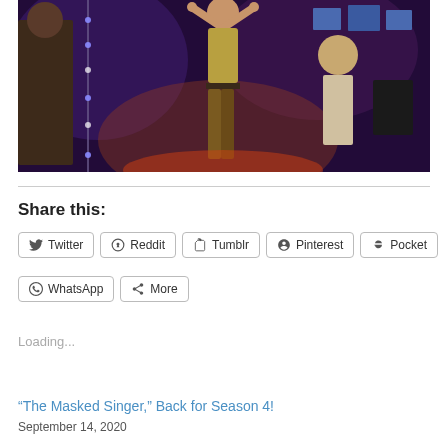[Figure (photo): A person with arms raised standing center stage in a purple/blue-lit venue with other people and equipment visible in background]
Share this:
Twitter  Reddit  Tumblr  Pinterest  Pocket  WhatsApp  More
Loading...
“The Masked Singer,” Back for Season 4!
September 14, 2020